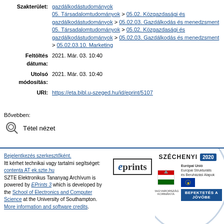Szakterület: gazdálkodástudományok; 05. Társadalomtudományok > 05.02. Közgazdasági és gazdálkodástudományok > 05.02.03. Gazdálkodás és menedzsment; 05. Társadalomtudományok > 05.02. Közgazdasági és gazdálkodástudományok > 05.02.03. Gazdálkodás és menedzsment > 05.02.03.10. Marketing
Feltöltés dátuma: 2021. Már. 03. 10:40
Utolsó módosítás: 2021. Már. 03. 10:40
URI: https://eta.bibl.u-szeged.hu/id/eprint/5107
Bővebben:
Tétel nézet
Bejelentkezés szerkesztőként. Itt kérhet technikai vagy tartalmi segítséget: contenta AT ek.szte.hu SZTE Elektronikus Tananyag Archívum is powered by EPrints 3 which is developed by the School of Electronics and Computer Science at the University of Southampton. More information and software credits.